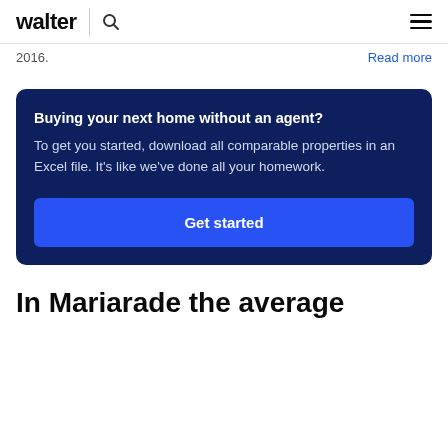walter
2016.
Read more
Buying your next home without an agent? To get you started, download all comparable properties in an Excel file. It's like we've done all your homework.
Get started
In Mariarade the average